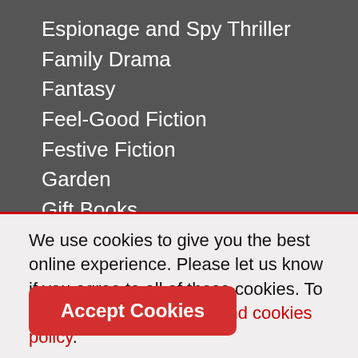Espionage and Spy Thriller
Family Drama
Fantasy
Feel-Good Fiction
Festive Fiction
Garden
Gift Books
Health & Fitness
Historical Fiction
We use cookies to give you the best online experience. Please let us know if you agree to all of these cookies. To learn more view privacy and cookies policy.
Accept Cookies